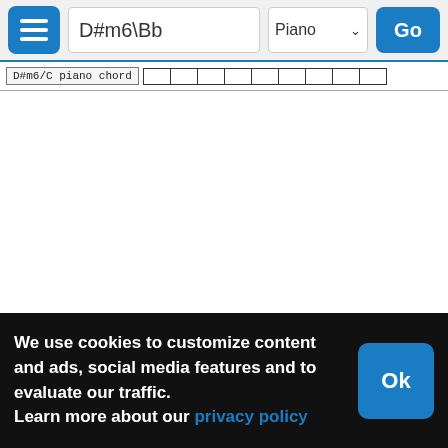D#m6\Bb — Piano — Go
D#m6/C piano chord
We use cookies to customize content and ads, social media features and to evaluate our traffic.
Learn more about our privacy policy